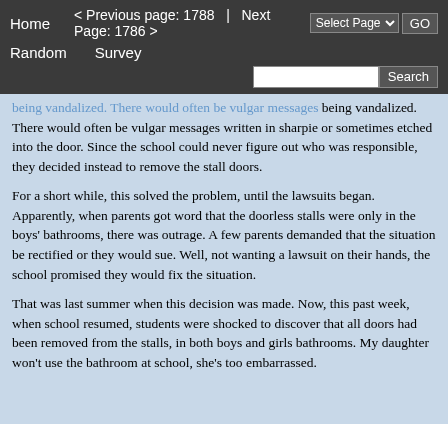Home   < Previous page: 1788  |  Next Page: 1786 >   Random   Survey   Select Page  GO   Search
being vandalized. There would often be vulgar messages written in sharpie or sometimes etched into the door. Since the school could never figure out who was responsible, they decided instead to remove the stall doors.
For a short while, this solved the problem, until the lawsuits began. Apparently, when parents got word that the doorless stalls were only in the boys' bathrooms, there was outrage. A few parents demanded that the situation be rectified or they would sue. Well, not wanting a lawsuit on their hands, the school promised they would fix the situation.
That was last summer when this decision was made. Now, this past week, when school resumed, students were shocked to discover that all doors had been removed from the stalls, in both boys and girls bathrooms. My daughter won't use the bathroom at school, she's too embarrassed.